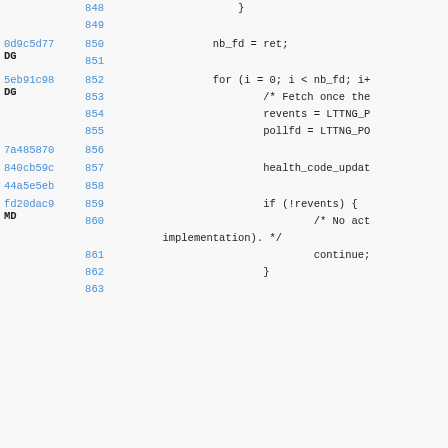[Figure (screenshot): Source code view showing git blame with commit hashes, authors, line numbers, and C code lines 848-863. Includes code with nb_fd assignment, for loop, comments, revents, pollfd, health_code_update, and if(!revents) block.]